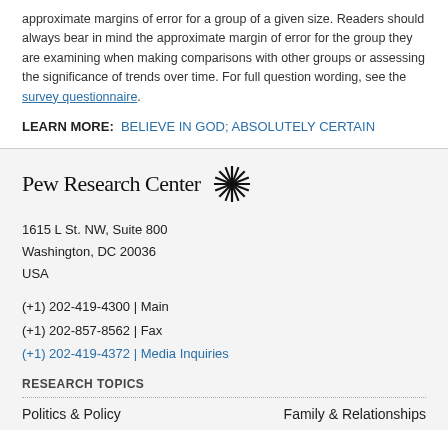approximate margins of error for a group of a given size. Readers should always bear in mind the approximate margin of error for the group they are examining when making comparisons with other groups or assessing the significance of trends over time. For full question wording, see the survey questionnaire.
LEARN MORE: BELIEVE IN GOD; ABSOLUTELY CERTAIN
Pew Research Center
1615 L St. NW, Suite 800
Washington, DC 20036
USA
(+1) 202-419-4300 | Main
(+1) 202-857-8562 | Fax
(+1) 202-419-4372 | Media Inquiries
RESEARCH TOPICS
Politics & Policy   Family & Relationships